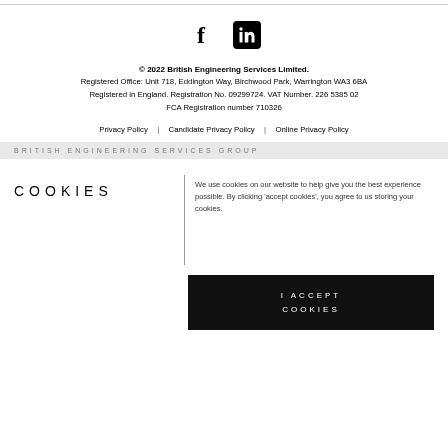[Figure (other): Social media icons: Facebook (f) and LinkedIn (in) centered on page]
© 2022 British Engineering Services Limited.
Registered Office: Unit 718, Eddington Way, Birchwood Park, Warrington WA3 6BA
Registered in England. Registration No. 09299724. VAT Number. 226 5385 02
FCA Registration number 710326
Privacy Policy | Candidate Privacy Policy | Online Privacy Policy
BRITISH ENGINEERING SERVICES GROUP
COOKIES
We use cookies on our website to help give you the best experience possible. By clicking 'accept cookies', you agree to us storing your cookies.
I ACCEPT COOKIES